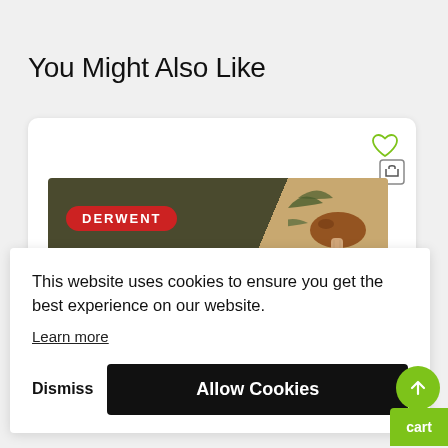You Might Also Like
[Figure (photo): Derwent product box partially visible, showing red Derwent logo on dark olive background with decorative mushroom illustration on right side]
This website uses cookies to ensure you get the best experience on our website.
Learn more
Dismiss
Allow Cookies